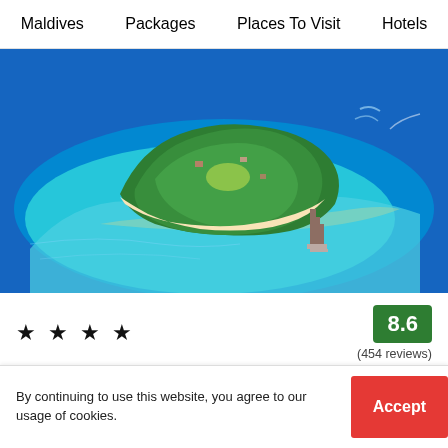Maldives   Packages   Places To Visit   Hotels
[Figure (photo): Aerial view of a lush green tropical island in the Maldives surrounded by turquoise and deep blue ocean water, with a pier visible on the right side.]
★ ★ ★ ★
8.6
(454 reviews)
Facilities: Bar , Wifi , Food
By continuing to use this website, you agree to our usage of cookies.